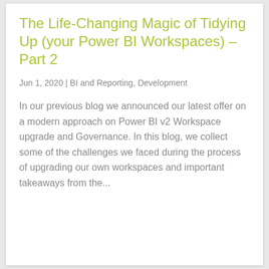The Life-Changing Magic of Tidying Up (your Power BI Workspaces) – Part 2
Jun 1, 2020 | BI and Reporting, Development
In our previous blog we announced our latest offer on a modern approach on Power BI v2 Workspace upgrade and Governance. In this blog, we collect some of the challenges we faced during the process of upgrading our own workspaces and important takeaways from the...